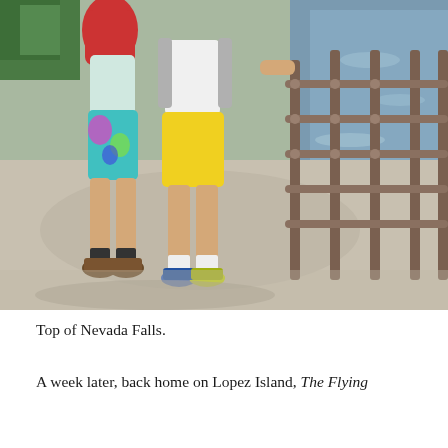[Figure (photo): Photo of two people standing on a bridge with metal railing near the top of Nevada Falls. One person wears tie-dye shorts and carries a red backpack, the other wears yellow shorts. Water is visible in the background.]
Top of Nevada Falls.
A week later, back home on Lopez Island, The Flying